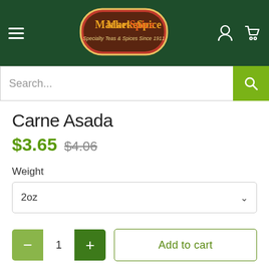[Figure (logo): MarketSpice logo — brown oval background with orange and white text reading 'MarketSpice' and tagline 'Specialty Teas & Spices Since 1911', red border ring]
Carne Asada
$3.65  $4.06
Weight
2oz
1
Add to cart